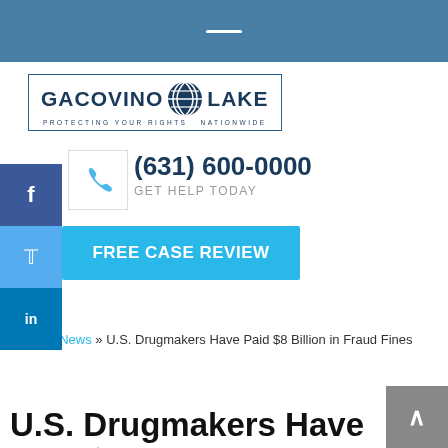[Figure (logo): Gacovino Lake law firm logo with globe icon and tagline PROTECTING YOUR RIGHTS NATIONWIDE]
(631) 600-0000
GET HELP TODAY
FREE CASE REVIEW
Home » News » U.S. Drugmakers Have Paid $8 Billion in Fraud Fines
U.S. Drugmakers Have Paid $8 Billion in Fraud Fines